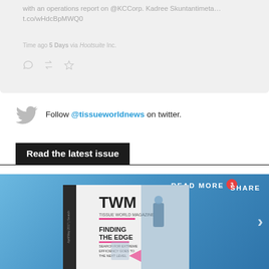with an operations report on @KCCorp. Kadree Skuntantimeta… t.co/wHdcBpMWQ0
Time ago 5 Days via Hootsuite Inc.
Follow @tissueworldnews on twitter.
Read the latest issue
[Figure (screenshot): TWM Tissue World Magazine cover showing 'FINDING THE EDGE - SEARCH FOR EXTREME EFFICIENCY GOES TO THE NEXT LEVEL' with READ MORE and SHARE buttons on a blue background]